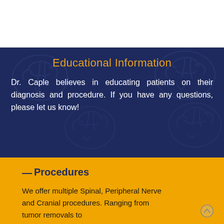Educational Information
Dr. Caple believes in educating patients on their diagnosis and procedure. If you have any questions, please let us know!
— Procedures
We offer multiple Spinal, Peripheral Nerve and Cranial procedures. Ranging from tumor removals to spinal revision surgeries. We take great